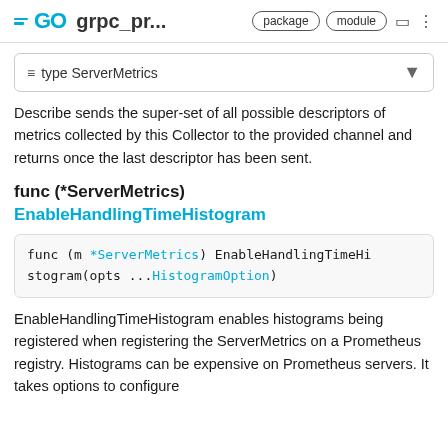grpc_pr... package module
type ServerMetrics
Describe sends the super-set of all possible descriptors of metrics collected by this Collector to the provided channel and returns once the last descriptor has been sent.
func (*ServerMetrics) EnableHandlingTimeHistogram
func (m *ServerMetrics) EnableHandlingTimeHistogram(opts ...HistogramOption)
EnableHandlingTimeHistogram enables histograms being registered when registering the ServerMetrics on a Prometheus registry. Histograms can be expensive on Prometheus servers. It takes options to configure